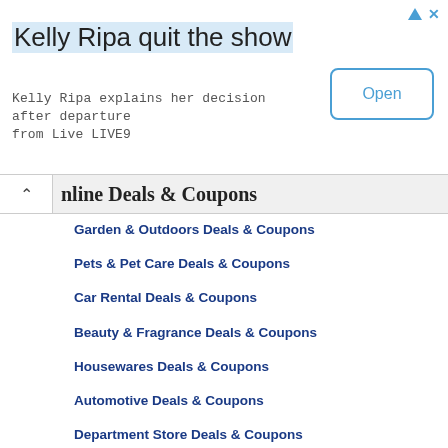[Figure (screenshot): Advertisement banner: 'Kelly Ripa quit the show' with subtitle 'Kelly Ripa explains her decision after departure from Live LIVE9' and an 'Open' button]
... Deals & Coupons
Garden & Outdoors Deals & Coupons
Pets & Pet Care Deals & Coupons
Car Rental Deals & Coupons
Beauty & Fragrance Deals & Coupons
Housewares Deals & Coupons
Automotive Deals & Coupons
Department Store Deals & Coupons
Shoe & Footwear Deals, Coupons & Offers
Apparel Deals & Coupons
Music & Movies Deals & Coupons
VIEW ALL COUPONS & DEALS